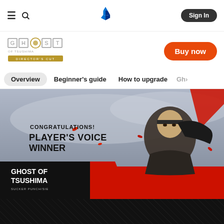PlayStation navigation bar with hamburger menu, search, PlayStation logo, and Sign In button
[Figure (logo): Ghost of Tsushima Director's Cut logo]
Buy now
Overview | Beginner's guide | How to upgrade | Gh>
[Figure (illustration): Banner image: CONGRATULATIONS! PLAYER'S VOICE WINNER - Ghost of Tsushima by Sucker Punch/SIE, featuring samurai warrior art with red and black design]